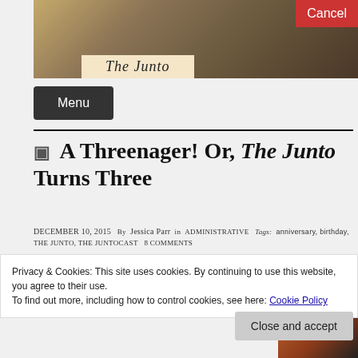[Figure (illustration): Header banner image showing a historical crowd scene painting for The Junto blog, with a tan overlay banner reading 'The Junto' in serif italic font]
Cancel
Menu
A Threenager! Or, The Junto Turns Three
December 10, 2015  By  Jessica Parr  in Administrative  Tags: anniversary, birthday, The Junto, The JuntoCast  8 Comments
Privacy & Cookies: This site uses cookies. By continuing to use this website, you agree to their use.
To find out more, including how to control cookies, see here: Cookie Policy
Close and accept